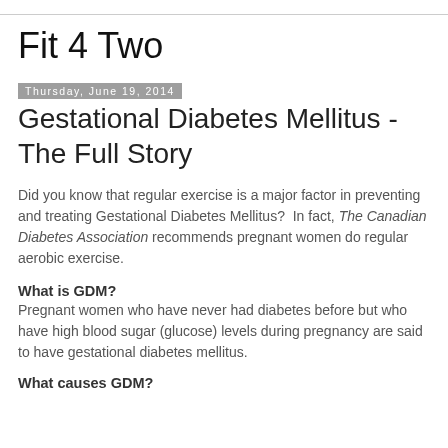Fit 4 Two
Thursday, June 19, 2014
Gestational Diabetes Mellitus - The Full Story
Did you know that regular exercise is a major factor in preventing and treating Gestational Diabetes Mellitus?  In fact, The Canadian Diabetes Association recommends pregnant women do regular aerobic exercise.
What is GDM?
Pregnant women who have never had diabetes before but who have high blood sugar (glucose) levels during pregnancy are said to have gestational diabetes mellitus.
What causes GDM?